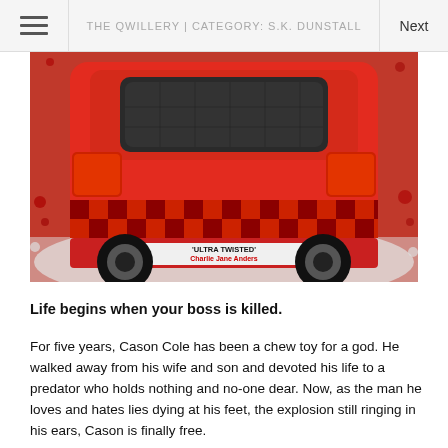THE QWILLERY | CATEGORY: S.K. DUNSTALL
[Figure (illustration): Book cover for a novel showing the rear of a red car with a black and red checkered stripe. Text on the bumper reads 'ULTRA TWISTED' with 'Charlie Jane Anders' in red below.]
Life begins when your boss is killed.
For five years, Cason Cole has been a chew toy for a god. He walked away from his wife and son and devoted his life to a predator who holds nothing and no-one dear. Now, as the man he loves and hates lies dying at his feet, the explosion still ringing in his ears, Cason is finally free.